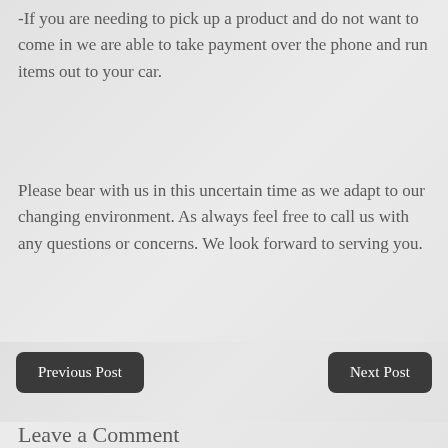-If you are needing to pick up a product and do not want to come in we are able to take payment over the phone and run items out to your car.
Please bear with us in this uncertain time as we adapt to our changing environment. As always feel free to call us with any questions or concerns. We look forward to serving you.
Previous Post
Next Post
Leave a Comment